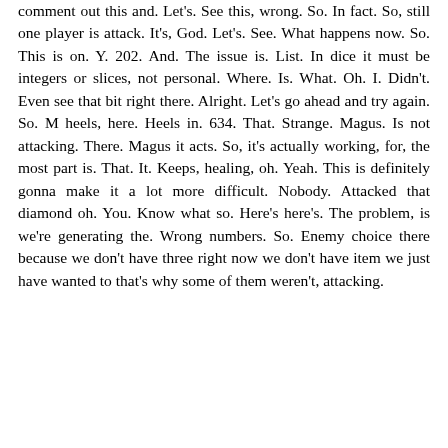comment out this and. Let's. See this, wrong. So. In fact. So, still one player is attack. It's, God. Let's. See. What happens now. So. This is on. Y. 202. And. The issue is. List. In dice it must be integers or slices, not personal. Where. Is. What. Oh. I. Didn't. Even see that bit right there. Alright. Let's go ahead and try again. So. M heels, here. Heels in. 634. That. Strange. Magus. Is not attacking. There. Magus it acts. So, it's actually working, for, the most part is. That. It. Keeps, healing, oh. Yeah. This is definitely gonna make it a lot more difficult. Nobody. Attacked that diamond oh. You. Know what so. Here's here's. The problem, is we're generating the. Wrong numbers. So. Enemy choice there because we don't have three right now we don't have item we just have wanted to that's why some of them weren't, attacking.